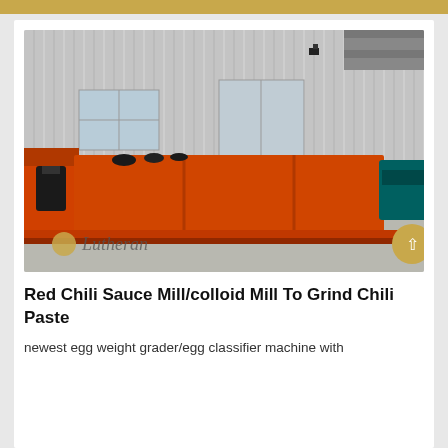[Figure (photo): Industrial machine - Red Chili Sauce Mill / colloid mill, large orange-colored grinding machine placed outdoors in front of a corrugated metal warehouse building. A 'Lutheran' watermark with logo appears in lower left. A circular golden navigation button appears in lower right.]
Red Chili Sauce Mill/colloid Mill To Grind Chili Paste
newest egg weight grader/egg classifier machine with